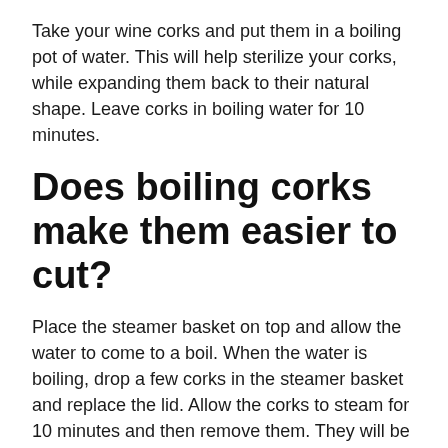Take your wine corks and put them in a boiling pot of water. This will help sterilize your corks, while expanding them back to their natural shape. Leave corks in boiling water for 10 minutes.
Does boiling corks make them easier to cut?
Place the steamer basket on top and allow the water to come to a boil. When the water is boiling, drop a few corks in the steamer basket and replace the lid. Allow the corks to steam for 10 minutes and then remove them. They will be easy to cut!
What happens when you